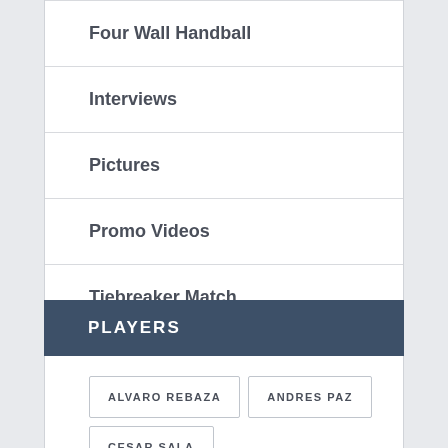Four Wall Handball
Interviews
Pictures
Promo Videos
Tiebreaker Match
Video
PLAYERS
ALVARO REBAZA  ANDRES PAZ  CESAR SALA